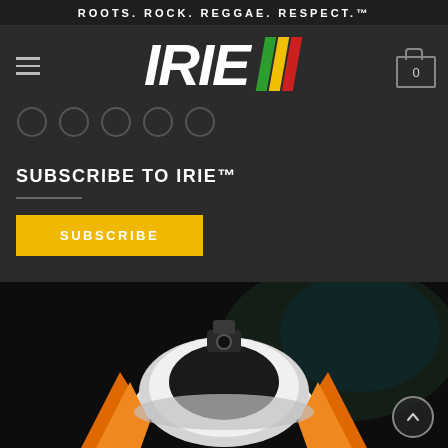ROOTS. ROCK. REGGAE. RESPECT.™
[Figure (logo): IRIE logo with colored racing stripes (green, yellow, red) in italic bold white lettering on dark background, with hamburger menu icon on left and shopping cart icon with '0' on right]
SUBSCRIBE TO IRIE™
SUBSCRIBE
[Figure (illustration): Illustration of an astronaut helmet from above against a dark space background with nebula colors, with orange wing-like shapes on either side]